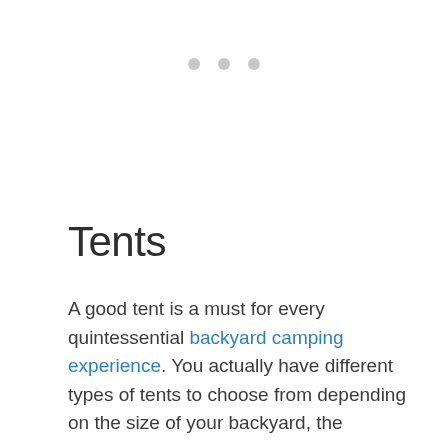[Figure (other): Three grey dots in a row, centered horizontally near the top of the page]
Tents
A good tent is a must for every quintessential backyard camping experience. You actually have different types of tents to choose from depending on the size of your backyard, the